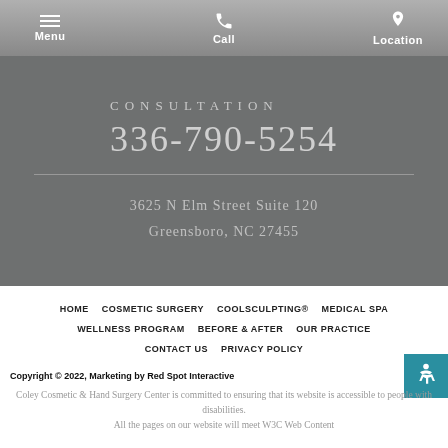Menu  Call  Location
CONSULTATION
336-790-5254
3625 N Elm Street Suite 120
Greensboro, NC 27455
HOME   COSMETIC SURGERY   COOLSCULPTING®   MEDICAL SPA   WELLNESS PROGRAM   BEFORE & AFTER   OUR PRACTICE   CONTACT US   PRIVACY POLICY
Copyright © 2022, Marketing by Red Spot Interactive
Coley Cosmetic & Hand Surgery Center is committed to ensuring that its website is accessible to people with disabilities.
All the pages on our website will meet W3C Web Content